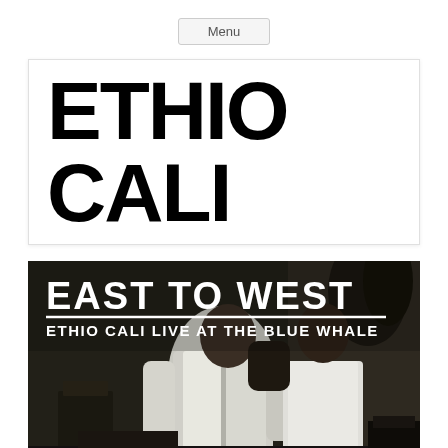Menu
ETHIO CALI
[Figure (photo): Album cover for 'East to West: Ethio Cali Live at the Blue Whale' — black and white photo of two people leaning toward each other in a dimly lit venue, with text overlay reading 'EAST TO WEST' and 'ETHIO CALI LIVE AT THE BLUE WHALE']